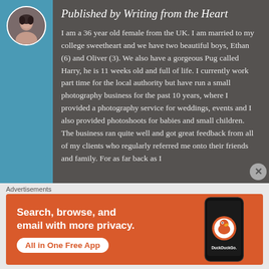[Figure (photo): Circular avatar photo of a woman with dark hair, displayed on a teal/blue banner on the left side of the header block.]
Published by Writing from the Heart
I am a 36 year old female from the UK. I am married to my college sweetheart and we have two beautiful boys, Ethan (6) and Oliver (3). We also have a gorgeous Pug called Harry, he is 11 weeks old and full of life. I currently work part time for the local authority but have run a small photography business for the past 10 years, where I provided a photography service for weddings, events and I also provided photoshoots for babies and small children. The business ran quite well and got great feedback from all of my clients who regularly referred me onto their friends and family. For as far back as I
Advertisements
[Figure (screenshot): DuckDuckGo advertisement banner with orange background. Text reads 'Search, browse, and email with more privacy. All in One Free App' with a phone graphic showing the DuckDuckGo app and logo.]